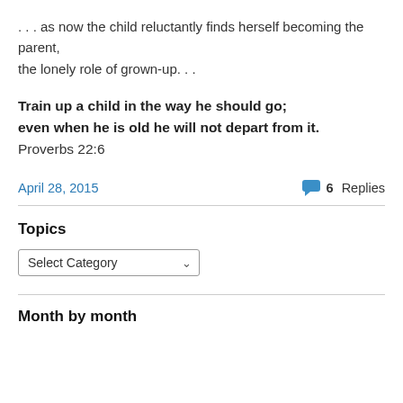. . . as now the child reluctantly finds herself becoming the parent,
the lonely role of grown-up. . .
Train up a child in the way he should go;
even when he is old he will not depart from it.
Proverbs 22:6
April 28, 2015
6 Replies
Topics
Select Category
Month by month